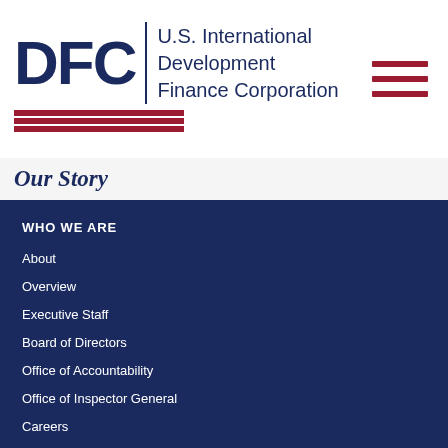[Figure (logo): DFC U.S. International Development Finance Corporation logo with red stripes and hamburger menu icon]
Our Story
WHO WE ARE
About
Overview
Executive Staff
Board of Directors
Office of Accountability
Office of Inspector General
Careers